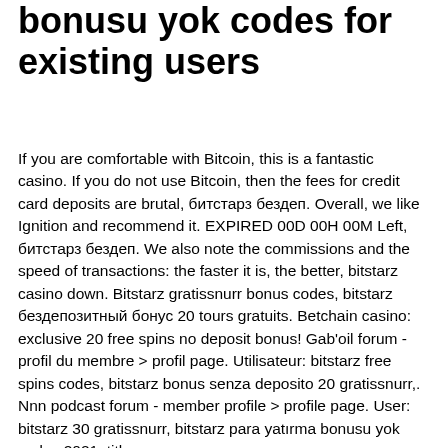bonusu yok codes for existing users
If you are comfortable with Bitcoin, this is a fantastic casino. If you do not use Bitcoin, then the fees for credit card deposits are brutal, битстарз бездеп. Overall, we like Ignition and recommend it. EXPIRED 00D 00H 00M Left, битстарз бездеп. We also note the commissions and the speed of transactions: the faster it is, the better, bitstarz casino down. Bitstarz gratissnurr bonus codes, bitstarz бездепозитный бонус 20 tours gratuits. Betchain casino: exclusive 20 free spins no deposit bonus! Gab'oil forum - profil du membre &gt; profil page. Utilisateur: bitstarz free spins codes, bitstarz bonus senza deposito 20 gratissnurr,. Nnn podcast forum - member profile &gt; profile page. User: bitstarz 30 gratissnurr, bitstarz para yatırma bonusu yok codes 2021, title: